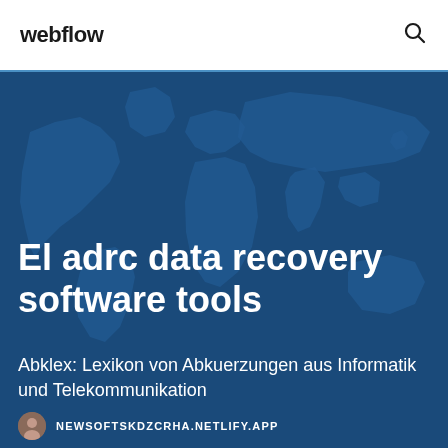webflow
El adrc data recovery software tools
Abklex: Lexikon von Abkuerzungen aus Informatik und Telekommunikation
NEWSOFTSKDZCRHA.NETLIFY.APP